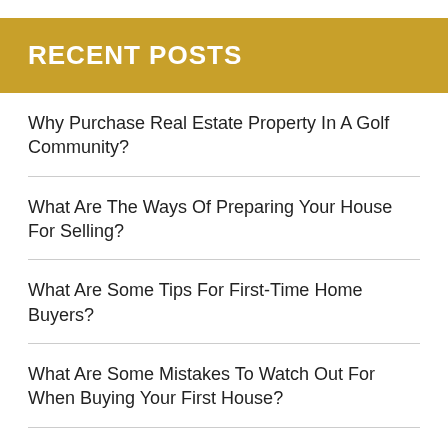RECENT POSTS
Why Purchase Real Estate Property In A Golf Community?
What Are The Ways Of Preparing Your House For Selling?
What Are Some Tips For First-Time Home Buyers?
What Are Some Mistakes To Watch Out For When Buying Your First House?
Top Tips When Looking To Buy A Home In Hilton